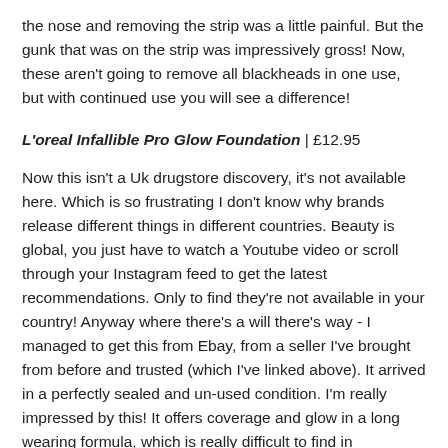the nose and removing the strip was a little painful. But the gunk that was on the strip was impressively gross! Now, these aren't going to remove all blackheads in one use, but with continued use you will see a difference!
L'oreal Infallible Pro Glow Foundation | £12.95
Now this isn't a Uk drugstore discovery, it's not available here. Which is so frustrating I don't know why brands release different things in different countries. Beauty is global, you just have to watch a Youtube video or scroll through your Instagram feed to get the latest recommendations. Only to find they're not available in your country! Anyway where there's a will there's way - I managed to get this from Ebay, from a seller I've brought from before and trusted (which I've linked above). It arrived in a perfectly sealed and un-used condition. I'm really impressed by this! It offers coverage and glow in a long wearing formula, which is really difficult to find in foundations! The consistency of it is light, runny and so easy to blend. It does give my skin a soft, dewy look to it. With a solid medium coverage. It stays put on me